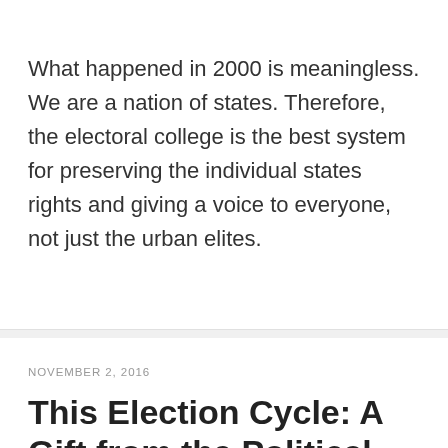What happened in 2000 is meaningless. We are a nation of states. Therefore, the electoral college is the best system for preserving the individual states rights and giving a voice to everyone, not just the urban elites.
NOVEMBER 2, 2016
This Election Cycle: A Gift from the Political